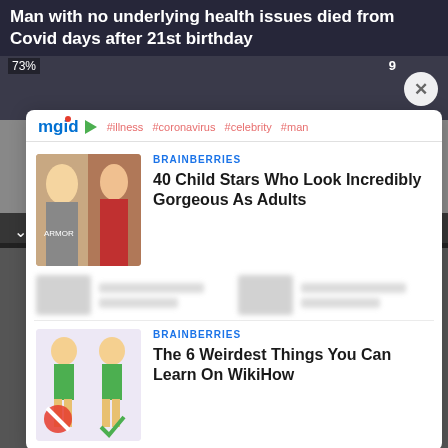Man with no underlying health issues died from Covid days after 21st birthday
[Figure (screenshot): mgid content recommendation widget with logo, hashtags (#illness #coronavirus #celebrity #man), and two article cards]
BRAINBERRIES
40 Child Stars Who Look Incredibly Gorgeous As Adults
BRAINBERRIES
The 6 Weirdest Things You Can Learn On WikiHow
reveals Bill Fellows
[Figure (other): Advertisement banner for Visit Premium Outlets / Leesburg Premium Outlets with logo and navigation icon]